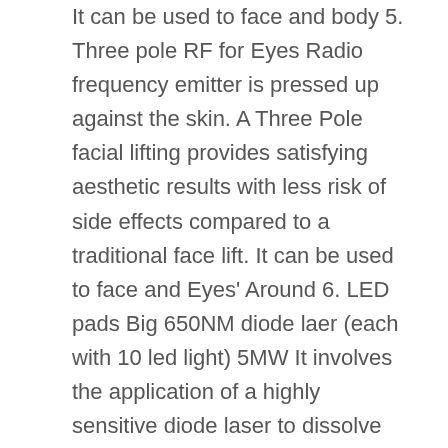It can be used to face and body 5. Three pole RF for Eyes Radio frequency emitter is pressed up against the skin. A Three Pole facial lifting provides satisfying aesthetic results with less risk of side effects compared to a traditional face lift. It can be used to face and Eyes' Around 6. LED pads Big 650NM diode laer (each with 10 led light) 5MW It involves the application of a highly sensitive diode laser to dissolve the fat deposits situated in the upper layers of the human skin. The energy emanating from the led breaks up the fat cells to produce an oily material.
LED pads emits low levels of laser energy, which creates a chemical signal in the fat cells, breaking down the stored triglycerides into free fatty acids, glycerol and water molecules, the same natural response initiated by the body anytime it needs to use its stored energy reserves. 160mw will be more powerful for weigh loss. It is only used big area of body, such as leg and belly area. Small